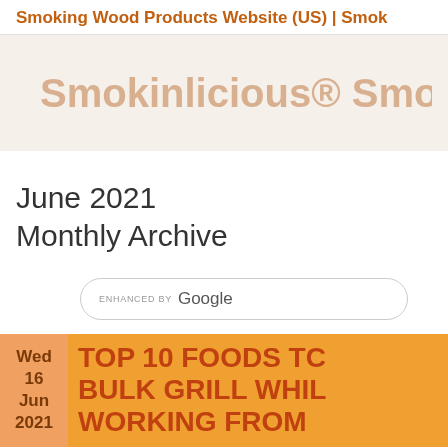Smoking Wood Products Website (US) | Smok
Smokinlicious® Smo
June 2021
Monthly Archive
ENHANCED BY Google
Wed 16 Jun 2021  TOP 10 FOODS TO BULK GRILL WHIL WORKING FROM